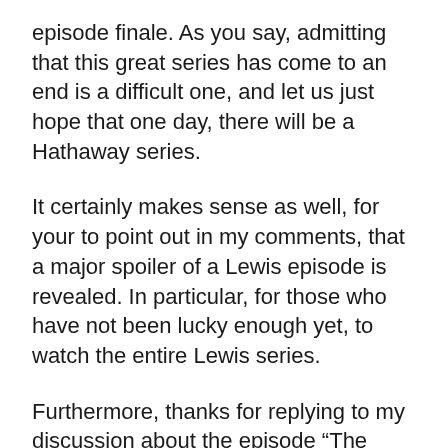episode finale. As you say, admitting that this great series has come to an end is a difficult one, and let us just hope that one day, there will be a Hathaway series.
It certainly makes sense as well, for your to point out in my comments, that a major spoiler of a Lewis episode is revealed. In particular, for those who have not been lucky enough yet, to watch the entire Lewis series.
Furthermore, thanks for replying to my discussion about the episode “The Quality of Mercy”. I agree with you, that although slightly inauthentic, it did allow Lewis and Hathaway’s relationship to be tested. At the heart of the reason we watch the show, is the working relationship between Lewis and Hathaway, and how the “dynamic duo” go about investigating the crimes in Oxford. As a result, when a crime is committed that is of a very personal nature, to either of the